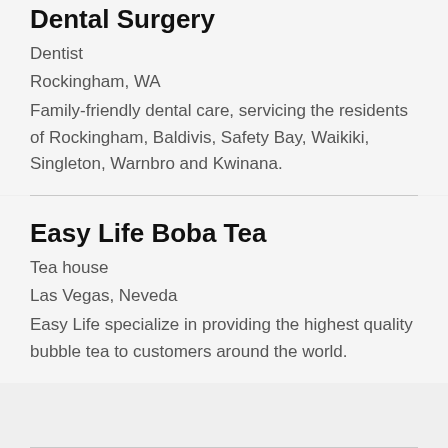Dental Surgery
Dentist
Rockingham, WA
Family-friendly dental care, servicing the residents of Rockingham, Baldivis, Safety Bay, Waikiki, Singleton, Warnbro and Kwinana.
Easy Life Boba Tea
Tea house
Las Vegas, Neveda
Easy Life specialize in providing the highest quality bubble tea to customers around the world.